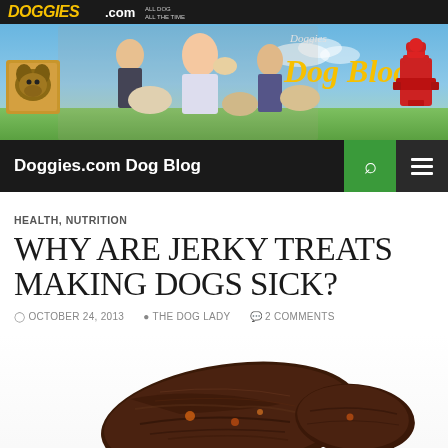[Figure (illustration): Doggies.com Dog Blog website banner with people holding dogs, a golden retriever and other dogs, green field background, fire hydrant on right, yellow Dog Blog text, and Doggies.com logo in black bar at top]
Doggies.com Dog Blog
HEALTH, NUTRITION
WHY ARE JERKY TREATS MAKING DOGS SICK?
OCTOBER 24, 2013  THE DOG LADY  2 COMMENTS
[Figure (photo): Close-up photo of dried jerky treat pieces — dark brown textured meat jerky strips for dogs]